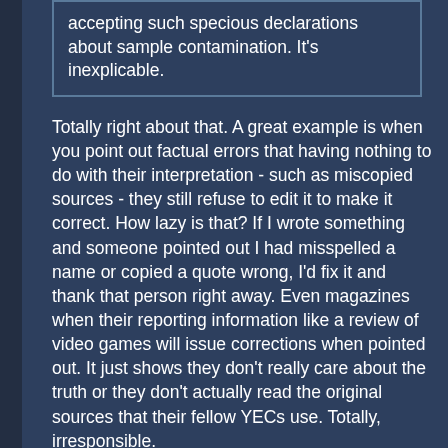accepting such specious declarations about sample contamination. It's inexplicable.
Totally right about that. A great example is when you point out factual errors that having nothing to do with their interpretation - such as miscopied sources - they still refuse to edit it to make it correct. How lazy is that? If I wrote something and someone pointed out I had misspelled a name or copied a quote wrong, I'd fix it and thank that person right away. Even magazines when their reporting information like a review of video games will issue corrections when pointed out. It just shows they don't really care about the truth or they don't actually read the original sources that their fellow YECs use. Totally, irresponsible.
Of course, the run of the mill YEC has no idea they're being deceived because Morton's demon won't let them see the truth. I was on a YEC forum and had pointed out the during the Ham/Nye debate Ham had